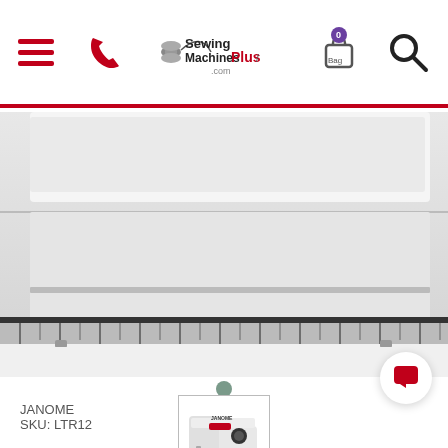SewingMachinesPlus.com header with hamburger menu, phone icon, logo, bag icon, search icon
[Figure (photo): Close-up photo of a white sewing machine table/extension base showing the front panel with ruler/guide markings along the bottom edge]
[Figure (photo): Thumbnail image of a white Janome sewing machine with black dial and red accents on a white base]
prev
next
JANOME
SKU: LTR12